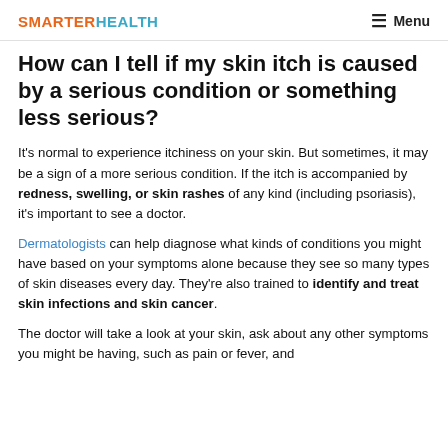SMARTERHEALTH  Menu
How can I tell if my skin itch is caused by a serious condition or something less serious?
It's normal to experience itchiness on your skin. But sometimes, it may be a sign of a more serious condition. If the itch is accompanied by redness, swelling, or skin rashes of any kind (including psoriasis), it's important to see a doctor.
Dermatologists can help diagnose what kinds of conditions you might have based on your symptoms alone because they see so many types of skin diseases every day. They're also trained to identify and treat skin infections and skin cancer.
The doctor will take a look at your skin, ask about any other symptoms you might be having, such as pain or fever, and